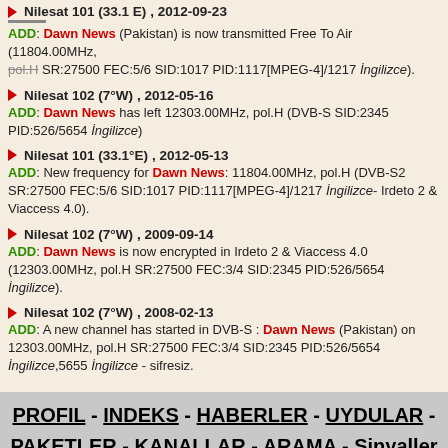Nilesat 101 (33.1 E), 2012-09-23 — ADD: Dawn News (Pakistan) is now transmitted Free To Air (11804.00MHz, pol.H SR:27500 FEC:5/6 SID:1017 PID:1117[MPEG-4]/1217 İngilizce).
Nilesat 102 (7°W), 2012-05-16 — ADD: Dawn News has left 12303.00MHz, pol.H (DVB-S SID:2345 PID:526/5654 İngilizce)
Nilesat 101 (33.1°E), 2012-05-13 — ADD: New frequency for Dawn News: 11804.00MHz, pol.H (DVB-S2 SR:27500 FEC:5/6 SID:1017 PID:1117[MPEG-4]/1217 İngilizce- Irdeto 2 & Viaccess 4.0).
Nilesat 102 (7°W), 2009-09-14 — ADD: Dawn News is now encrypted in Irdeto 2 & Viaccess 4.0 (12303.00MHz, pol.H SR:27500 FEC:3/4 SID:2345 PID:526/5654 İngilizce).
Nilesat 102 (7°W), 2008-02-13 — ADD: A new channel has started in DVB-S : Dawn News (Pakistan) on 12303.00MHz, pol.H SR:27500 FEC:3/4 SID:2345 PID:526/5654 İngilizce,5655 İngilizce - sifresiz.
PROFIL - INDEKS - HABERLER - UYDULAR - PAKETLER - KANALLAR - ARAMA - Sinyaller - TAKVİYELER - MEZARLIK - Yorumunuz/güncellemeler
All contents on this site are protected by copyright and owned by KingOfSat, except contents shown in some screenshots that belong to their respective owners. Screenshots are only proposed to help illustrating, identifying and promoting